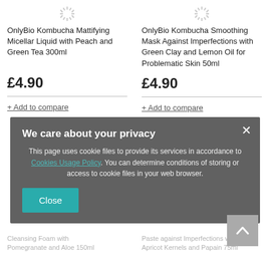[Figure (other): Loading spinner icon for product image placeholder]
OnlyBio Kombucha Mattifying Micellar Liquid with Peach and Green Tea 300ml
£4.90
+ Add to compare
[Figure (other): Loading spinner icon for product image placeholder]
OnlyBio Kombucha Smoothing Mask Against Imperfections with Green Clay and Lemon Oil for Problematic Skin 50ml
£4.90
+ Add to compare
We care about your privacy
This page uses cookie files to provide its services in accordance to Cookies Usage Policy. You can determine conditions of storing or access to cookie files in your web browser.
Close
Cleansing Foam with Pomegranate and Aloe 150ml
Paste against Imperfections with Apricot Kernels and Papain 75ml